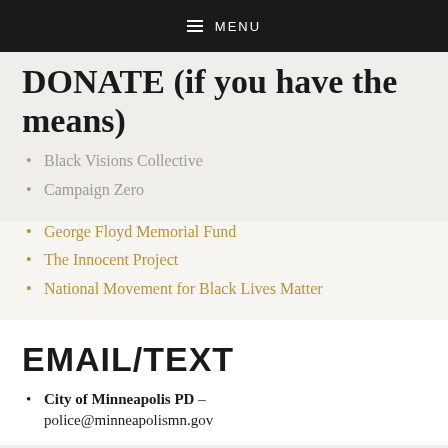MENU
DONATE (if you have the means)
Black Visions Collective
Campaign Zero
George Floyd Memorial Fund
The Innocent Project
National Movement for Black Lives Matter
EMAIL/TEXT
City of Minneapolis PD – police@minneapolismn.gov
Office of Police Conduct Review –